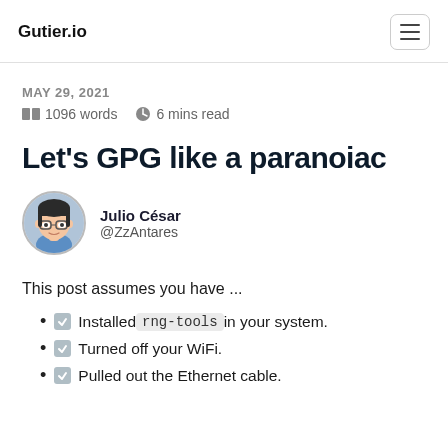Gutier.io
MAY 29, 2021
1096 words   6 mins read
Let's GPG like a paranoiac
[Figure (illustration): Circular avatar of Julio César (cartoon/bitmoji style) with dark hair and glasses]
Julio César
@ZzAntares
This post assumes you have ...
✓ Installed rng-tools in your system.
✓ Turned off your WiFi.
✓ Pulled out the Ethernet cable.